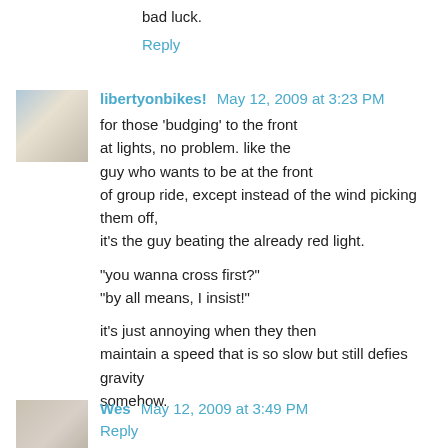bad luck.
Reply
libertyonbikes! May 12, 2009 at 3:23 PM
for those 'budging' to the front at lights, no problem. like the guy who wants to be at the front of group ride, except instead of the wind picking them off, it's the guy beating the already red light.

"you wanna cross first?"
"by all means, I insist!"

it's just annoying when they then maintain a speed that is so slow but still defies gravity somehow.
Reply
Wes May 12, 2009 at 3:49 PM